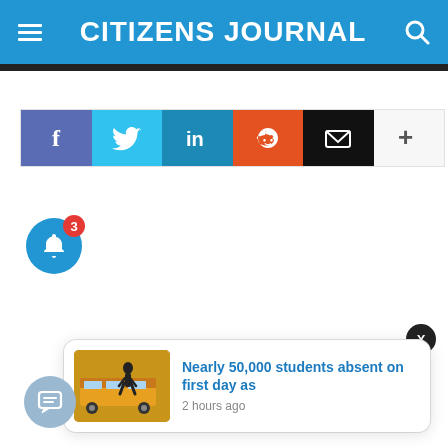CITIZENS JOURNAL
[Figure (screenshot): Social sharing buttons row: Facebook (purple-blue), Twitter (light blue), LinkedIn (dark blue), Reddit (orange), Email (black), More/Plus (white/gray)]
[Figure (infographic): Blue circular bell notification button with red badge showing number 3]
[Figure (infographic): Notification popup card with thumbnail of school bus and person walking, headline 'Nearly 50,000 students absent on first day as', timestamp '2 hours ago']
[Figure (infographic): Light blue circular chat/message button at bottom left]